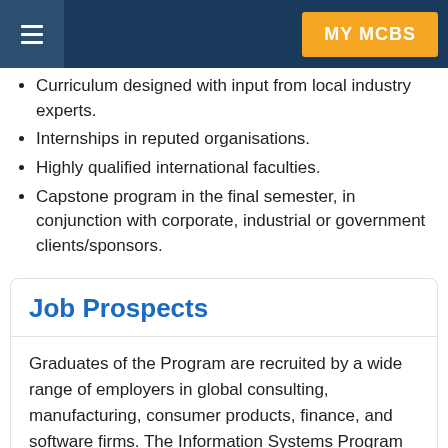MY MCBS
Curriculum designed with input from local industry experts.
Internships in reputed organisations.
Highly qualified international faculties.
Capstone program in the final semester, in conjunction with corporate, industrial or government clients/sponsors.
Job Prospects
Graduates of the Program are recruited by a wide range of employers in global consulting, manufacturing, consumer products, finance, and software firms. The Information Systems Program enables the students to apply computer technology to business problems. Types of jobs obtained by graduates are: